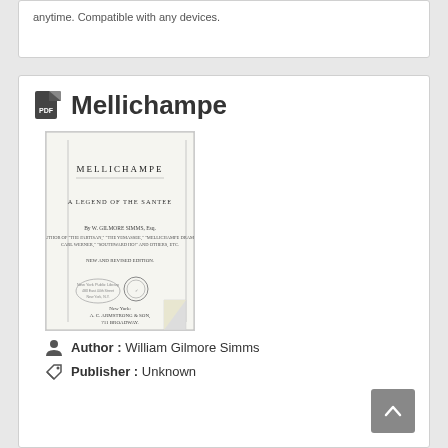anytime. Compatible with any devices.
Mellichampe
[Figure (illustration): Book cover thumbnail of 'Mellichampe: A Legend of the Santee' by W. Gilmore Simms, showing title page with publisher A.C. Armstrong & Son, 711 Broadway, New York, with library stamps.]
Author : William Gilmore Simms
Publisher : Unknown